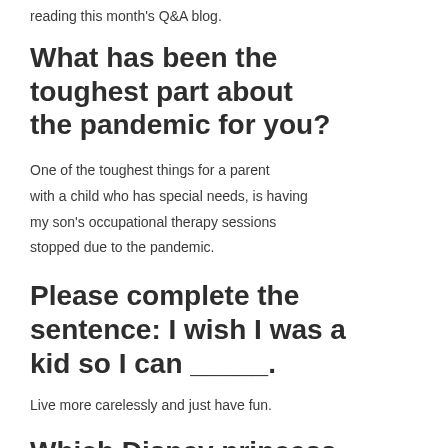reading this month's Q&A blog.
What has been the toughest part about the pandemic for you?
One of the toughest things for a parent with a child who has special needs, is having my son's occupational therapy sessions stopped due to the pandemic.
Please complete the sentence: I wish I was a kid so I can _____.
Live more carelessly and just have fun.
Which Disney princess are you?